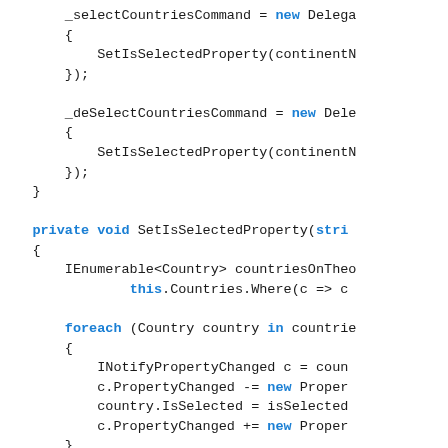Code snippet showing C# ViewModel methods: _selectCountriesCommand, _deSelectCountriesCommand assignments, SetIsSelectedProperty private method, and foreach loop with INotifyPropertyChanged handling, plus public ICommand SelectCountriesCommand property start.